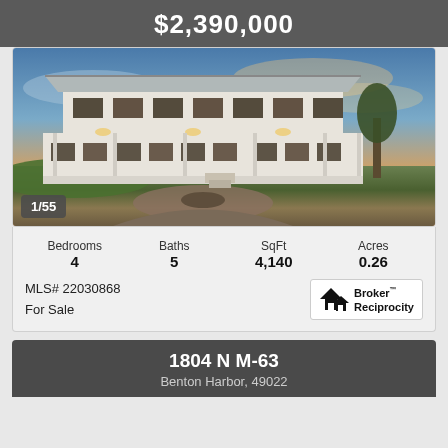$2,390,000
[Figure (photo): Exterior photo of a large two-story white coastal/farmhouse style home at dusk with lit windows, wrap-around porch, metal roof, and circular brick patio with fire pit in foreground]
1/55
Bedrooms 4   Baths 5   SqFt 4,140   Acres 0.26
MLS# 22030868
For Sale
[Figure (logo): Broker Reciprocity logo with house icon]
1804 N M-63